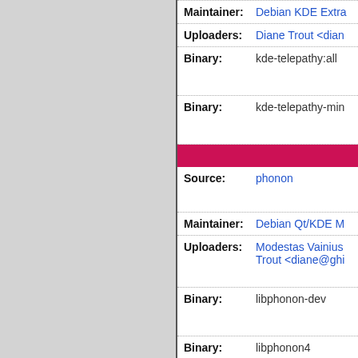| Field | Value |
| --- | --- |
| Maintainer: | Debian KDE Extra... |
| Uploaders: | Diane Trout <dian... |
| Binary: | kde-telepathy:all |
| Binary: | kde-telepathy-min... |
| Field | Value |
| --- | --- |
| Source: | phonon |
| Maintainer: | Debian Qt/KDE M... |
| Uploaders: | Modestas Vainius... Trout <diane@ghi... |
| Binary: | libphonon-dev |
| Binary: | libphonon4 |
| Binary: | libphonon4qt5-4 |